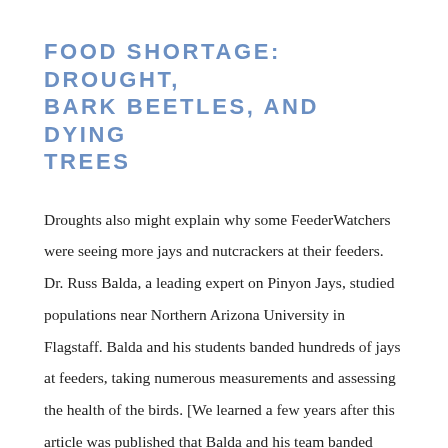FOOD SHORTAGE: DROUGHT, BARK BEETLES, AND DYING TREES
Droughts also might explain why some FeederWatchers were seeing more jays and nutcrackers at their feeders. Dr. Russ Balda, a leading expert on Pinyon Jays, studied populations near Northern Arizona University in Flagstaff. Balda and his students banded hundreds of jays at feeders, taking numerous measurements and assessing the health of the birds. [We learned a few years after this article was published that Balda and his team banded Pinyon Jays at the count site of FeederWatcher, Pam Koch, in Flagstaff, Arizona. See a related article in the